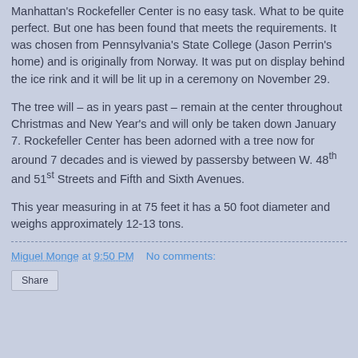Manhattan's Rockefeller Center is no easy task. What to be quite perfect. But one has been found that meets the requirements. It was chosen from Pennsylvania's State College (Jason Perrin's home) and is originally from Norway. It was put on display behind the ice rink and it will be lit up in a ceremony on November 29.
The tree will – as in years past – remain at the center throughout Christmas and New Year's and will only be taken down January 7. Rockefeller Center has been adorned with a tree now for around 7 decades and is viewed by passersby between W. 48th and 51st Streets and Fifth and Sixth Avenues.
This year measuring in at 75 feet it has a 50 foot diameter and weighs approximately 12-13 tons.
Miguel Monge at 9:50 PM   No comments:
Share